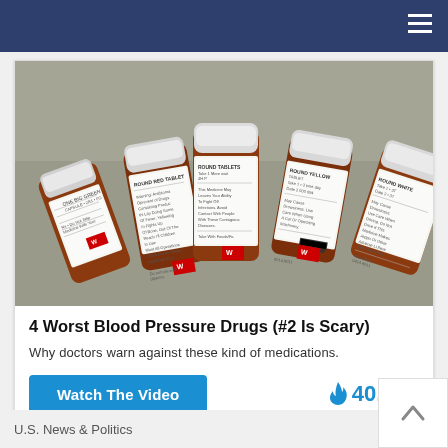[Figure (photo): Five orange/brown prescription pill bottles with white caps and pharmacy labels, arranged in a fan pattern on a gray surface. Labels appear to be from Walgreens pharmacy.]
4 Worst Blood Pressure Drugs (#2 Is Scary)
Why doctors warn against these kind of medications.
Watch The Video
🔥 40,837
Sponsored Ad
U.S. News & Politics